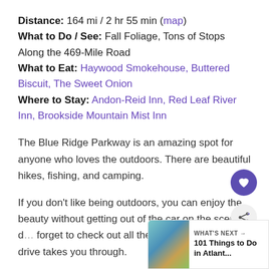Distance: 164 mi / 2 hr 55 min (map)
What to Do / See: Fall Foliage, Tons of Stops Along the 469-Mile Road
What to Eat: Haywood Smokehouse, Buttered Biscuit, The Sweet Onion
Where to Stay: Andon-Reid Inn, Red Leaf River Inn, Brookside Mountain Mist Inn
The Blue Ridge Parkway is an amazing spot for anyone who loves the outdoors. There are beautiful hikes, fishing, and camping.
If you don't like being outdoors, you can enjoy the beauty without getting out of the car on the scenic d... forget to check out all the amazing spots the drive takes you through.
[Figure (other): What's Next callout panel with photo and text '101 Things to Do in Atlant...']